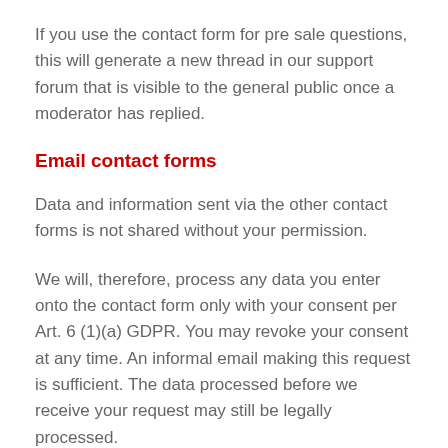If you use the contact form for pre sale questions, this will generate a new thread in our support forum that is visible to the general public once a moderator has replied.
Email contact forms
Data and information sent via the other contact forms is not shared without your permission.
We will, therefore, process any data you enter onto the contact form only with your consent per Art. 6 (1)(a) GDPR. You may revoke your consent at any time. An informal email making this request is sufficient. The data processed before we receive your request may still be legally processed.
We will retain the data you provide on the contact form until you request its deletion, revoke your consent for its storage, or the purpose for its storage no longer pertains